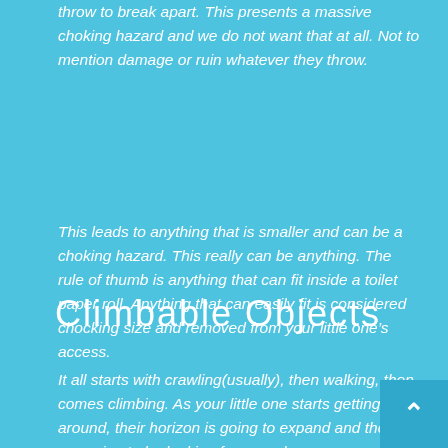throw to break apart. This presents a massive choking hazard and we do not want that at all. Not to mention damage or ruin whatever they throw.
This leads to anything that is smaller and can be a choking hazard. This really can be anything. The rule of thumb is anything that can fit inside a toilet paper roll. Anything that can easily fit is considered chocking size and removed from your little one's access.
Climbable Objects
It all starts with crawling(usually), then walking, then comes climbing. As your little one starts getting around, their horizon is going to expand and they are going to be looking for new places